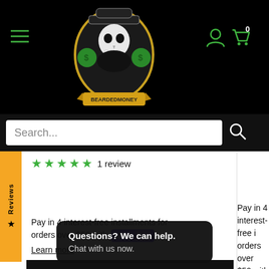[Figure (screenshot): Bearded Money e-commerce website screenshot showing navigation bar with hamburger menu, logo, user/cart icons, search bar, product reviews (5 stars, 1 review), Shop Pay installments text, Learn more link, Choose options button, and a chat popup reading 'Questions? We can help. Chat with us now.']
Bearded Money — navigation bar with hamburger menu, logo, account and cart icons (0)
Search...
★★★★★ 1 review
Pay in 4 interest-free installments for orders over $50 with shop Pay
Learn more
Pay in 4 interest-free i orders over $50 with
Learn more
Questions? We can help. Chat with us now.